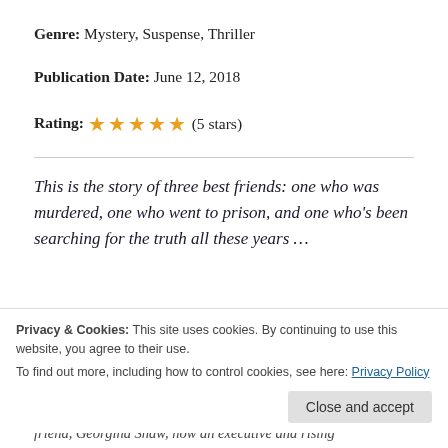Genre: Mystery, Suspense, Thriller
Publication Date: June 12, 2018
Rating: ★★★★★ (5 stars)
This is the story of three best friends: one who was murdered, one who went to prison, and one who's been searching for the truth all these years …
Privacy & Cookies: This site uses cookies. By continuing to use this website, you agree to their use.
To find out more, including how to control cookies, see here: Privacy Policy
friend, Georgina Shaw, now an executive and rising